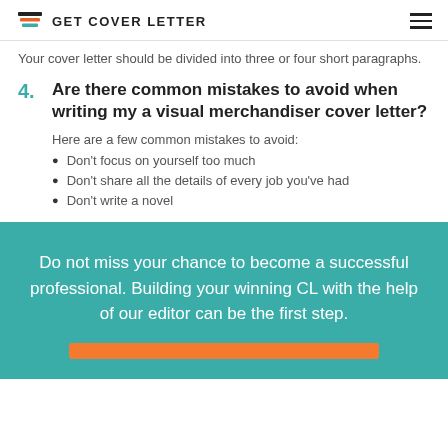GET COVER LETTER
Your cover letter should be divided into three or four short paragraphs.
4. Are there common mistakes to avoid when writing my a visual merchandiser cover letter?
Here are a few common mistakes to avoid:
Don't focus on yourself too much
Don't share all the details of every job you've had
Don't write a novel
Do not miss your chance to become a successful professional. Building your winning CL with the help of our editor can be the first step.